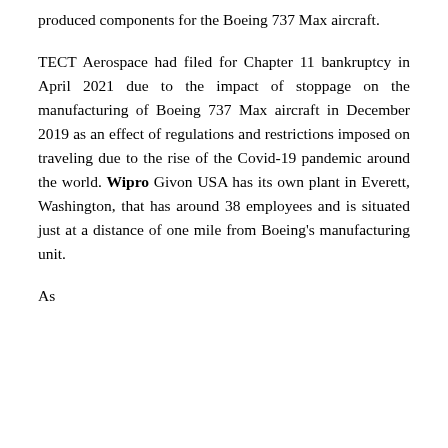produced components for the Boeing 737 Max aircraft.
TECT Aerospace had filed for Chapter 11 bankruptcy in April 2021 due to the impact of stoppage on the manufacturing of Boeing 737 Max aircraft in December 2019 as an effect of regulations and restrictions imposed on traveling due to the rise of the Covid-19 pandemic around the world. Wipro Givon USA has its own plant in Everett, Washington, that has around 38 employees and is situated just at a distance of one mile from Boeing's manufacturing unit.
As